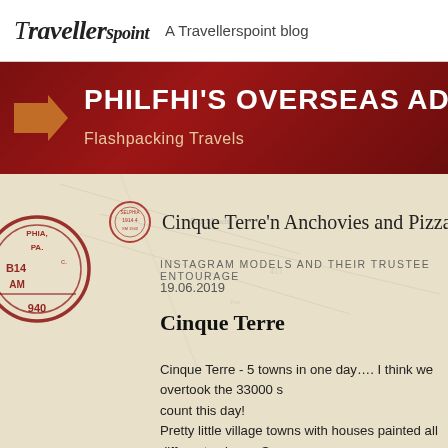Travellerspoint — A Travellerspoint blog
PHILFHI'S OVERSEAS ADVE...
Flashpacking Travels
Cinque Terre'n Anchovies and Pizza in I...
INSTAGRAM MODELS AND THEIR TRUSTEE ENTOURAGE
19.06.2019
Cinque Terre
Cinque Terre - 5 towns in one day…. I think we overtook the 33000 s... count this day!
Pretty little village towns with houses painted all different colours. So... houses are literally built on top of another house. DELICIOUS and M... ROMANTIC meal ever here. We sat at the top of a cliff with uninter... views from our table of the village and sea… cost a fortune… but we...